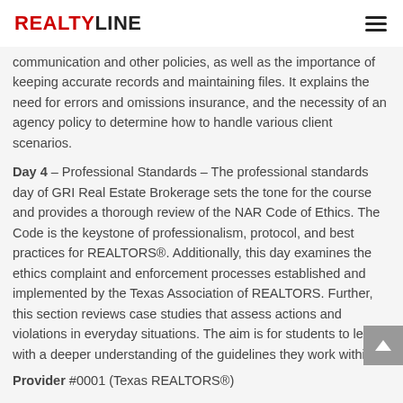REALTYLINE
communication and other policies, as well as the importance of keeping accurate records and maintaining files. It explains the need for errors and omissions insurance, and the necessity of an agency policy to determine how to handle various client scenarios.
Day 4 – Professional Standards – The professional standards day of GRI Real Estate Brokerage sets the tone for the course and provides a thorough review of the NAR Code of Ethics. The Code is the keystone of professionalism, protocol, and best practices for REALTORS®. Additionally, this day examines the ethics complaint and enforcement processes established and implemented by the Texas Association of REALTORS. Further, this section reviews case studies that assess actions and violations in everyday situations. The aim is for students to leave with a deeper understanding of the guidelines they work within.
Provider #0001 (Texas REALTORS®)